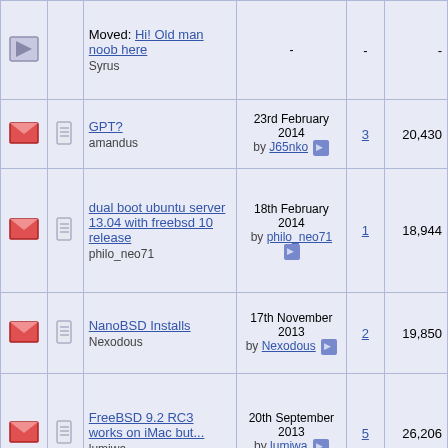|  |  | Topic | Last Post | Replies | Views |
| --- | --- | --- | --- | --- | --- |
| [redirect] | [doc] | Moved: Hi! Old man noob here
Syrus | - | - | - |
| [envelope] | [doc] | GPT?
amandus | 23rd February 2014 by J65nko | 3 | 20,430 |
| [envelope] | [doc] | dual boot ubuntu server 13.04 with freebsd 10 release
philo_neo71 | 18th February 2014 by philo_neo71 | 1 | 18,944 |
| [envelope] | [doc] | NanoBSD Installs
Nexodous | 17th November 2013 by Nexodous | 2 | 19,850 |
| [envelope] | [doc] | FreeBSD 9.2 RC3 works on iMac but...
lumiwa | 20th September 2013 by lumiwa | 5 | 26,206 |
| [envelope] | [doc] | FreeBSD 9.2-RC3 boot screen
J65nko | 13th September 2013 by J65nko | 0 | 20,008 |
| [envelope] | [doc] | GPT |  |  |  |